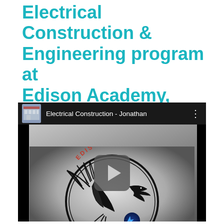Electrical Construction & Engineering program at Edison Academy, watch these videos.
[Figure (screenshot): YouTube video embed thumbnail showing the Edison Academy Electrical Construction program logo — an eagle holding a lightning bolt inside a circular badge with the text 'ELECTRICAL CONSTRUCTION' around the border. The video title bar reads 'Electrical Construction - Jonathan' with a thumbnail of the Edison Academy building.]